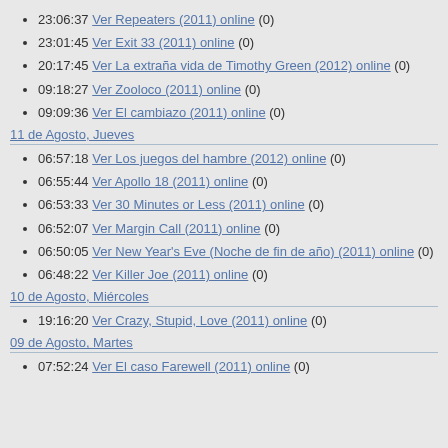23:06:37 Ver Repeaters (2011) online (0)
23:01:45 Ver Exit 33 (2011) online (0)
20:17:45 Ver La extraña vida de Timothy Green (2012) online (0)
09:18:27 Ver Zooloco (2011) online (0)
09:09:36 Ver El cambiazo (2011) online (0)
11 de Agosto, Jueves
06:57:18 Ver Los juegos del hambre (2012) online (0)
06:55:44 Ver Apollo 18 (2011) online (0)
06:53:33 Ver 30 Minutes or Less (2011) online (0)
06:52:07 Ver Margin Call (2011) online (0)
06:50:05 Ver New Year's Eve (Noche de fin de año) (2011) online (0)
06:48:22 Ver Killer Joe (2011) online (0)
10 de Agosto, Miércoles
19:16:20 Ver Crazy, Stupid, Love (2011) online (0)
09 de Agosto, Martes
07:52:24 Ver El caso Farewell (2011) online (0)